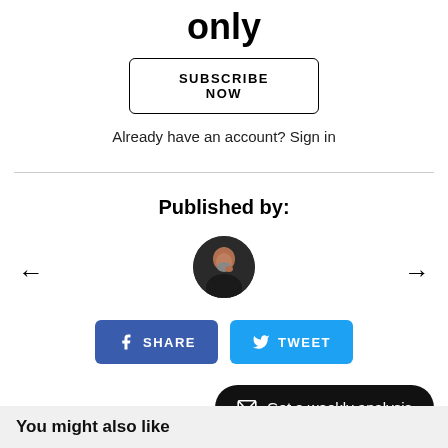only
SUBSCRIBE NOW
Already have an account? Sign in
Published by:
[Figure (photo): Circular profile photo of a man in dark clothing, hand near chin]
← (left arrow navigation)
→ (right arrow navigation)
SHARE
TWEET
Get a weekly analysis
You might also like